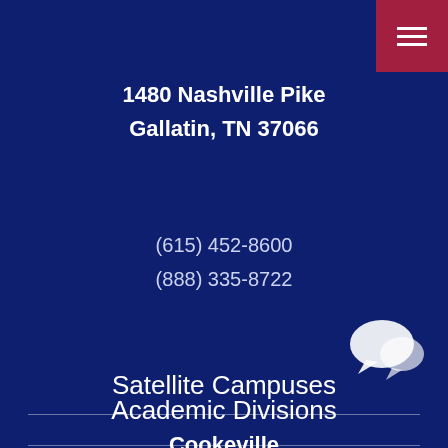1480 Nashville Pike
Gallatin, TN 37066
(615) 452-8600
(888) 335-8722
Satellite Campuses
Cookeville
Livingston
Springfield
Academic Divisions